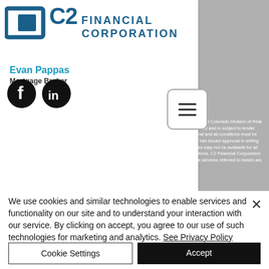[Figure (logo): C2 Financial Corporation logo with blue square icon and company name in dark blue text]
Evan Pappas
Mortgage Broker
[Figure (other): Social media icons: Facebook and LinkedIn]
[Figure (other): Hamburger menu button (three horizontal lines) in rounded rectangle border]
is required. C2 Financial Corporation is registered with the Colorado Division of Real Estate. NMLS# 135622. Loan approval is not guaranteed and is subject to lender review of information. All loan approvals are conditional and all conditions must be met by borrower. Loan is only approved when lender has issued approval in writing and is subject to the Lender conditions. Specified rates may not be available for all borrowers. Rate subject to change with market conditions. C2 Financial Corporation is an Equal Opportunity Mortgage Broker/Lender. The services referred to herein are not available to persons located outside
We use cookies and similar technologies to enable services and functionality on our site and to understand your interaction with our service. By clicking on accept, you agree to our use of such technologies for marketing and analytics. See Privacy Policy